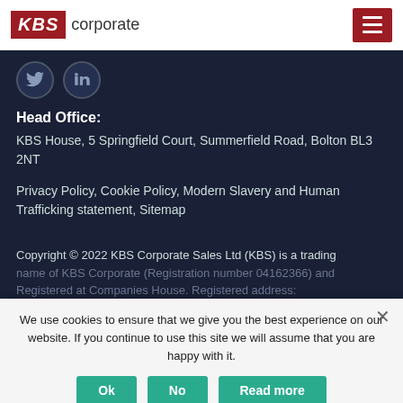[Figure (logo): KBS Corporate logo with red KBS box and gray 'corporate' text, plus hamburger menu button in red]
[Figure (infographic): Dark navy section with Twitter and LinkedIn social icons (circular)]
Head Office:
KBS House, 5 Springfield Court, Summerfield Road, Bolton BL3 2NT
Privacy Policy, Cookie Policy, Modern Slavery and Human Trafficking statement, Sitemap
Copyright © 2022 KBS Corporate Sales Ltd (KBS) is a trading name of KBS Corporate (Registration number 04162366)...
We use cookies to ensure that we give you the best experience on our website. If you continue to use this site we will assume that you are happy with it.